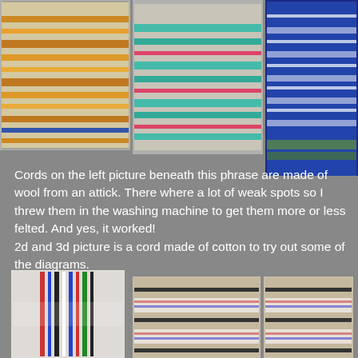[Figure (photo): Three photos of woven textile cords/bands arranged in a row at the top. Left photo shows orange/gold and blue patterned woven band on white background. Middle photo shows teal/green and pink patterned woven cord on gray background. Right photo shows blue and white patterned woven textile.]
Cords on the left picture beneath this phrase are made of wool from an attick. There where a lot of weak spots so I threw them in the washing machine to get them more or less felted. And yes, it worked!
2d and 3d picture is a cord made of cotton to try out some of the diagrams.
[Figure (photo): Three photos at the bottom of the page. Left photo shows colorful woven cords (red, blue, black, white) hanging vertically with intricate pattern. Middle photo shows woven band/textile with geometric pattern on beige fabric. Right photo shows similar woven band with geometric diamond pattern on beige fabric.]